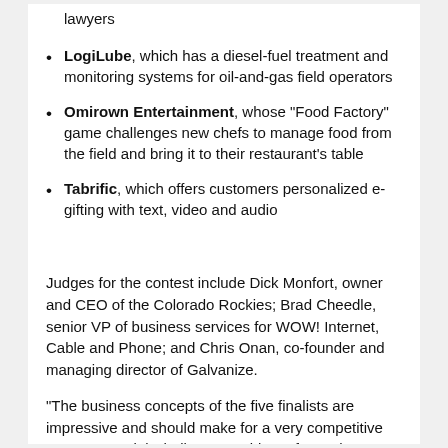lawyers
LogiLube, which has a diesel-fuel treatment and monitoring systems for oil-and-gas field operators
Omirown Entertainment, whose "Food Factory" game challenges new chefs to manage food from the field and bring it to their restaurant's table
Tabrific, which offers customers personalized e-gifting with text, video and audio
Judges for the contest include Dick Monfort, owner and CEO of the Colorado Rockies; Brad Cheedle, senior VP of business services for WOW! Internet, Cable and Phone; and Chris Onan, co-founder and managing director of Galvanize.
"The business concepts of the five finalists are impressive and should make for a very competitive Entrepreneurial Challenge," said Monfort. "The competition is truly serving as a real business initiative in Northern Colorado.